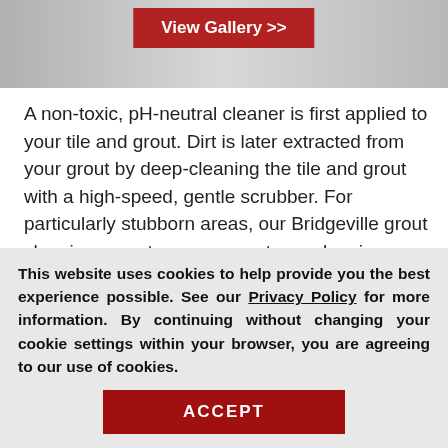[Figure (screenshot): Top image area of a webpage showing a gallery image with a dark red 'View Gallery >>' button overlaid on a gray/image background.]
A non-toxic, pH-neutral cleaner is first applied to your tile and grout. Dirt is later extracted from your grout by deep-cleaning the tile and grout with a high-speed, gentle scrubber. For particularly stubborn areas, our Bridgeville grout cleaning experts use vapor steam cleaning. Finally, we apply Sir Grout's proprietary Tile Armor gro to seal and shield against fut d
[Figure (screenshot): A dark red 'Request a Free' popup/overlay button with a close (x) button, partially obscuring the main text.]
This website uses cookies to help provide you the best experience possible. See our Privacy Policy for more information. By continuing without changing your cookie settings within your browser, you are agreeing to our use of cookies.
ACCEPT